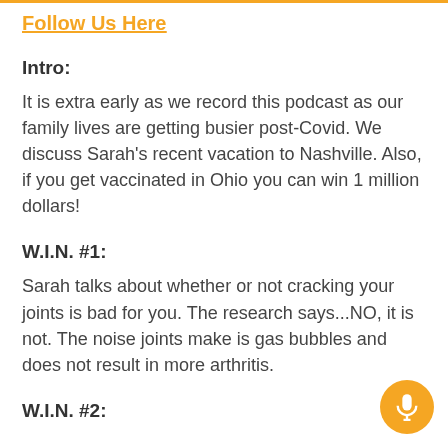Follow Us Here
Intro:
It is extra early as we record this podcast as our family lives are getting busier post-Covid.  We discuss Sarah’s recent vacation to Nashville.  Also, if you get vaccinated in Ohio you can win 1 million dollars!
W.I.N. #1:
Sarah talks about whether or not cracking your joints is bad for you.  The research says...NO, it is not.  The noise joints make is gas bubbles and does not result in more arthritis.
W.I.N. #2: